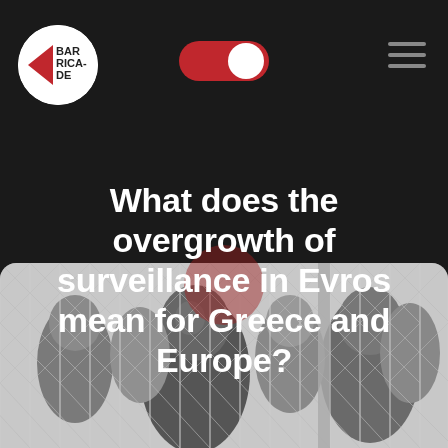[Figure (logo): Barricade logo: white circle with red left-pointing triangle and text BAR RICA DE]
[Figure (other): Red toggle switch (on state) in the navigation header]
[Figure (other): Hamburger menu icon (three horizontal lines) in top right corner]
What does the overgrowth of surveillance in Evros mean for Greece and Europe?
[Figure (photo): Black and white photograph of people (migrants/refugees) standing behind a chain-link fence, looking through it]